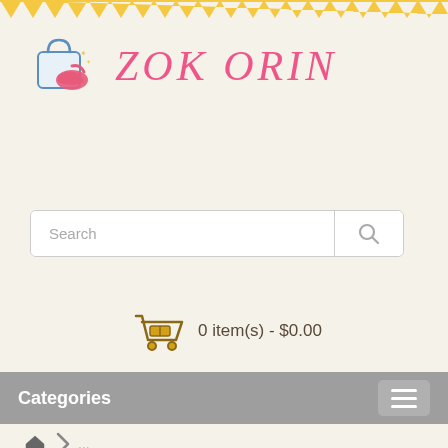[Figure (logo): ZOK ORIN shopping bag logo icon with a pink shoe and blue bag]
ZOK ORIN
[Figure (infographic): Search bar with text input and search icon button]
[Figure (infographic): Shopping cart icon with text: 0 item(s) - $0.00]
Categories
[Figure (infographic): Breadcrumb navigation with home icon, chevron, and ellipsis]